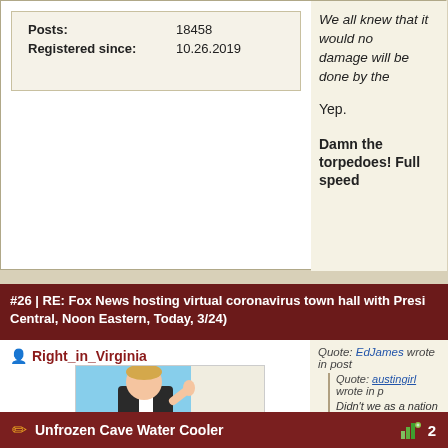| Posts: | 18458 |
| Registered since: | 10.26.2019 |
We all knew that it would no damage will be done by the
Yep.
Damn the torpedoes! Full speed
#26 | RE: Fox News hosting virtual coronavirus town hall with Presi Central, Noon Eastern, Today, 3/24)
Right_in_Virginia
[Figure (photo): Profile photo of a person in a dark suit giving a thumbs up gesture, with a blue sky and architectural elements in background]
Full Sun Member
Posts: 9324
Quote: EdJames wrote in post
Quote: austingirl wrote in p
Didn't we as a nation ar Fauxi adopt a 15 day pl justification to extend th
Unfrozen Cave Water Cooler  2